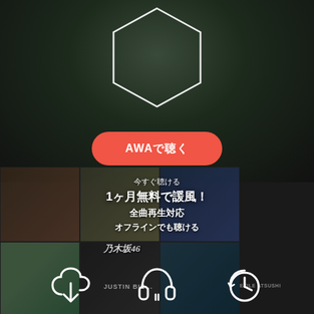[Figure (screenshot): AWA music streaming app screenshot. Dark background with hexagon outline logo at top, red pill button labeled AWA with Japanese text, album art mosaic grid in lower half showing various artists, Japanese text overlay with promotional messaging, and three white icons at bottom (download/cloud, headphones, clock/history).]